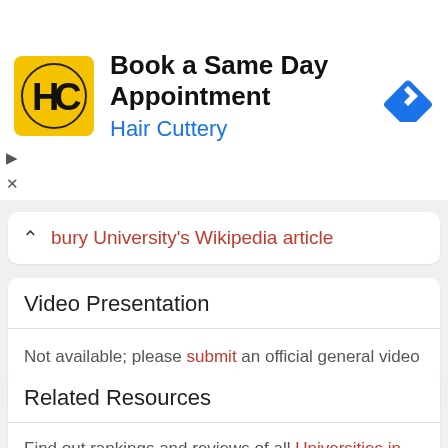[Figure (logo): Hair Cuttery advertisement banner with HC logo, 'Book a Same Day Appointment' title, 'Hair Cuttery' subtitle in blue, and a blue navigation arrow icon]
bury University's Wikipedia article
Video Presentation
Not available; please submit an official general video presentation of this higher education institution.
Related Resources
Find out rankings and reviews of all Universities in the